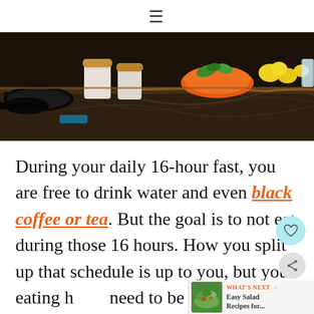≡
[Figure (photo): Kitchen counter with dark marble surface, various pots, pans, jars with lids, an orange bowl, and lemons/fruits visible in background]
During your daily 16-hour fast, you are free to drink water and even black coffee or tea. But the goal is to not eat during those 16 hours. How you split up that schedule is up to you, but your eating hours need to be consecutive, and your fasting hours do too.